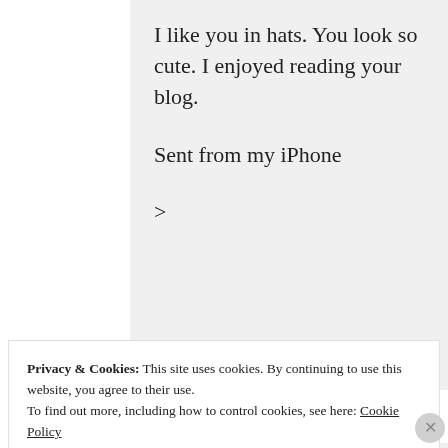I like you in hats. You look so cute. I enjoyed reading your blog.
Sent from my iPhone
>
JANUARY 5, 2022 AT 12:59 AM
REPLY
Privacy & Cookies: This site uses cookies. By continuing to use this website, you agree to their use.
To find out more, including how to control cookies, see here: Cookie Policy
Close and accept